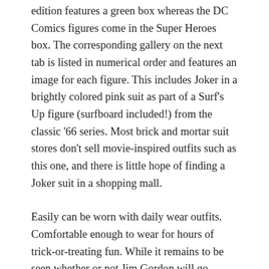edition features a green box whereas the DC Comics figures come in the Super Heroes box. The corresponding gallery on the next tab is listed in numerical order and features an image for each figure. This includes Joker in a brightly colored pink suit as part of a Surf's Up figure (surfboard included!) from the classic '66 series. Most brick and mortar suit stores don't sell movie-inspired outfits such as this one, and there is little hope of finding a Joker suit in a shopping mall.
Easily can be worn with daily wear outfits. Comfortable enough to wear for hours of trick-or-treating fun. While it remains to be seen whether or not Jim Gordon will go through with it and kill the Joker, fans will just have to wait and see what he does in future issues of Joker once he gets to Texas sporting his new Kingsman-inspired suit. The Bodega Cat Suit sees Miles being given a sweatshirt.